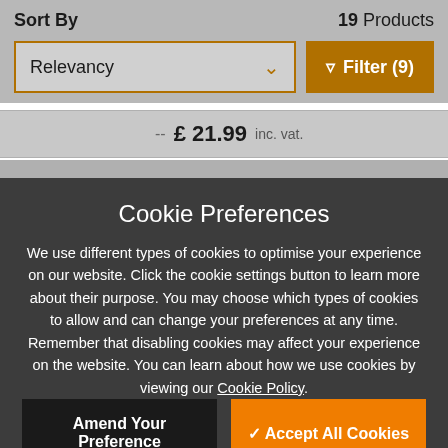Sort By
19 Products
Relevancy
Filter (9)
£ 21.99 inc. vat.
Cookie Preferences
We use different types of cookies to optimise your experience on our website. Click the cookie settings button to learn more about their purpose. You may choose which types of cookies to allow and can change your preferences at any time. Remember that disabling cookies may affect your experience on the website. You can learn about how we use cookies by viewing our Cookie Policy.
Amend Your Preference
Accept All Cookies